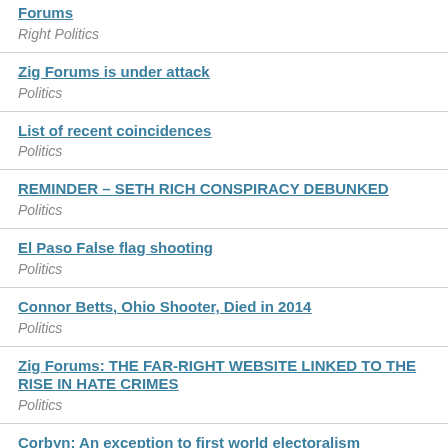Forums
Right Politics
Zig Forums is under attack
Politics
List of recent coincidences
Politics
REMINDER – SETH RICH CONSPIRACY DEBUNKED
Politics
El Paso False flag shooting
Politics
Connor Betts, Ohio Shooter, Died in 2014
Politics
Zig Forums: THE FAR-RIGHT WEBSITE LINKED TO THE RISE IN HATE CRIMES
Politics
Corbyn: An exception to first world electoralism